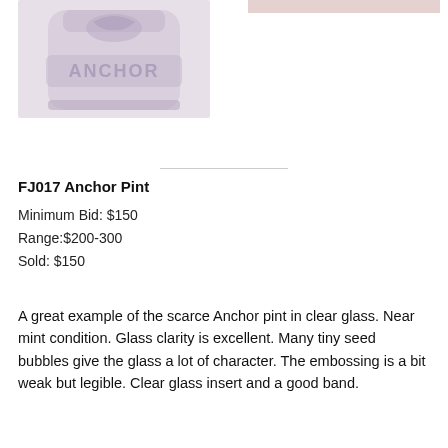[Figure (photo): Photo of an Anchor pint glass jar with embossed ANCHOR text, clear/purple tinted glass, showing the base of the jar]
[Figure (photo): Partial photo showing another view of the jar, mostly cropped]
FJ017 Anchor Pint
Minimum Bid: $150
Range:$200-300
Sold: $150
A great example of the scarce Anchor pint in clear glass. Near mint condition. Glass clarity is excellent. Many tiny seed bubbles give the glass a lot of character. The embossing is a bit weak but legible. Clear glass insert and a good band.